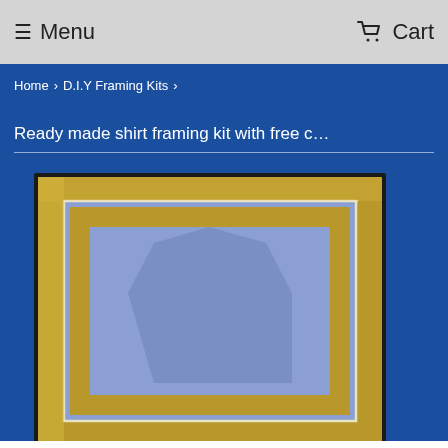Menu   Cart
Home › D.I.Y Framing Kits ›
Ready made shirt framing kit with free c…
[Figure (photo): A photo of a shirt framing kit showing a gold/bronze picture frame with a blue mount/mat board inside, displaying a shirt-shaped cutout in the center against a royal blue background.]